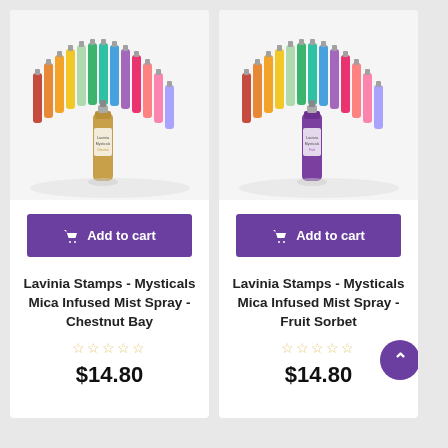[Figure (photo): Lavinia Stamps Mysticals Mica Infused Mist Spray bottles arranged in a fan/arc pattern with Chestnut Bay color in front]
Add to cart
Lavinia Stamps - Mysticals Mica Infused Mist Spray - Chestnut Bay
☆☆☆☆☆
$14.80
[Figure (photo): Lavinia Stamps Mysticals Mica Infused Mist Spray bottles arranged in a fan/arc pattern with Fruit Sorbet color in front]
Add to cart
Lavinia Stamps - Mysticals Mica Infused Mist Spray - Fruit Sorbet
☆☆☆☆☆
$14.80